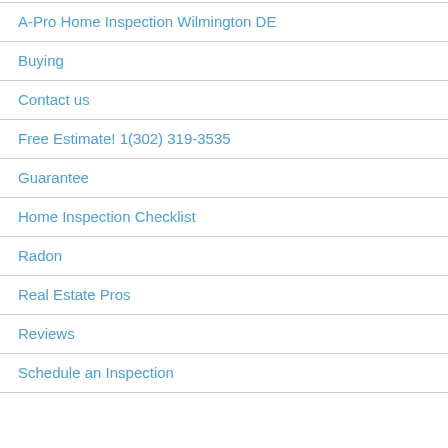A-Pro Home Inspection Wilmington DE
Buying
Contact us
Free Estimate! 1(302) 319-3535
Guarantee
Home Inspection Checklist
Radon
Real Estate Pros
Reviews
Schedule an Inspection